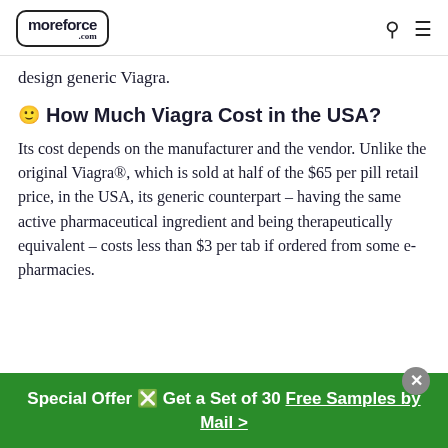moreforce.com
design generic Viagra.
🙂 How Much Viagra Cost in the USA?
Its cost depends on the manufacturer and the vendor. Unlike the original Viagra®, which is sold at half of the $65 per pill retail price, in the USA, its generic counterpart – having the same active pharmaceutical ingredient and being therapeutically equivalent – costs less than $3 per tab if ordered from some e-pharmacies.
Special Offer 🔥 Get a Set of 30 Free Samples by Mail >